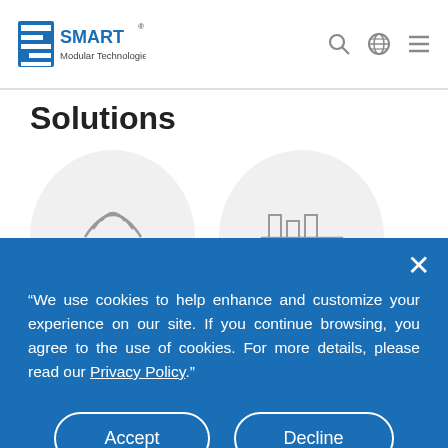SMART Modular Technologies
Solutions
[Figure (illustration): Two circular icons: one with a wireless tower/antenna with signal waves, one with an industrial factory building]
“We use cookies to help enhance and customize your experience on our site. If you continue browsing, you agree to the use of cookies. For more details, please read our Privacy Policy.”
Accept | Decline